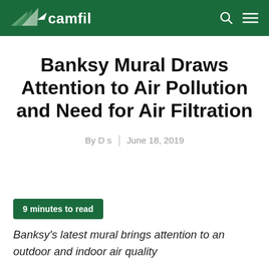camfil
Banksy Mural Draws Attention to Air Pollution and Need for Air Filtration
By D s | June 18, 2019
9 minutes to read
Banksy's latest mural brings attention to an outdoor and indoor air quality